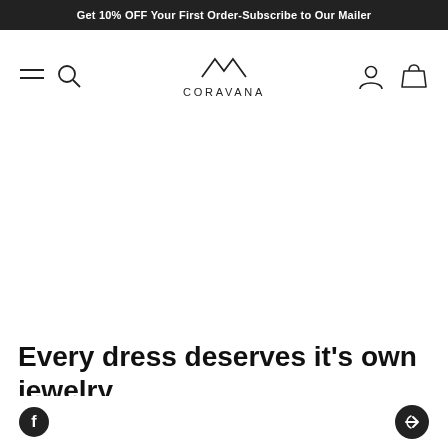Get 10% OFF Your First Order-Subscribe to Our Mailer
[Figure (logo): Coravana brand logo with stylized V/mountain symbol above the word CORAVANA]
Every dress deserves it's own jewelry